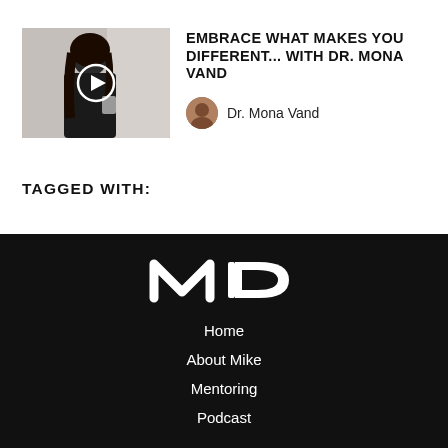[Figure (photo): Video thumbnail showing a woman in black clothing holding a coffee cup, with a play button overlay circle in the center]
EMBRACE WHAT MAKES YOU DIFFERENT... WITH DR. MONA VAND
Dr. Mona Vand
TAGGED WITH:
[Figure (logo): MD logo in white on black background — stylized letters M and D]
Home
About Mike
Mentoring
Podcast